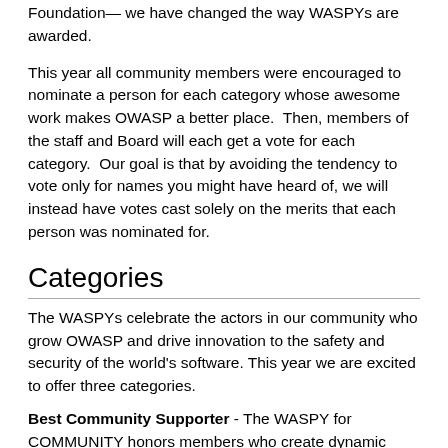Foundation— we have changed the way WASPYs are awarded.
This year all community members were encouraged to nominate a person for each category whose awesome work makes OWASP a better place.  Then, members of the staff and Board will each get a vote for each category.  Our goal is that by avoiding the tendency to vote only for names you might have heard of, we will instead have votes cast solely on the merits that each person was nominated for.
Categories
The WASPYs celebrate the actors in our community who grow OWASP and drive innovation to the safety and security of the world's software. This year we are excited to offer three categories.
Best Community Supporter - The WASPY for COMMUNITY honors members who create dynamic INTERACTION and LEARNING opportunities for the OWASP Community.  Nominees to the Community WASPY Award create collaborative and inclusive environments and grow the OWASP Community.  WASPYs focus on the unsung heros of the OWASP community.  Chapter Leaders and Community Members should especially...